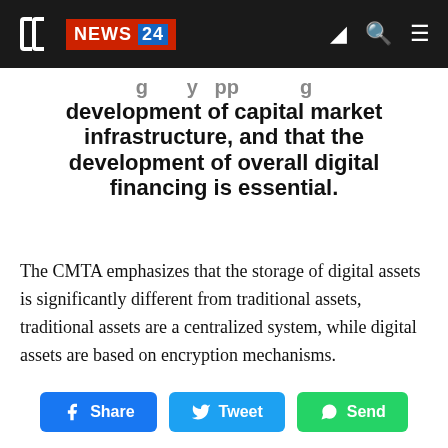CC NEWS 24
development of capital market infrastructure, and that the development of overall digital financing is essential.
The CMTA emphasizes that the storage of digital assets is significantly different from traditional assets, traditional assets are a centralized system, while digital assets are based on encryption mechanisms.
[Figure (infographic): Social share buttons: Share (Facebook), Tweet (Twitter), Send (WhatsApp)]